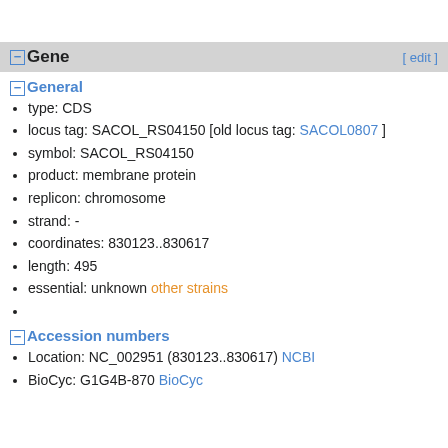Gene  [ edit ]
General
type: CDS
locus tag: SACOL_RS04150 [old locus tag: SACOL0807 ]
symbol: SACOL_RS04150
product: membrane protein
replicon: chromosome
strand: -
coordinates: 830123..830617
length: 495
essential: unknown other strains
Accession numbers
Location: NC_002951 (830123..830617) NCBI
BioCyc: G1G4B-870 BioCyc